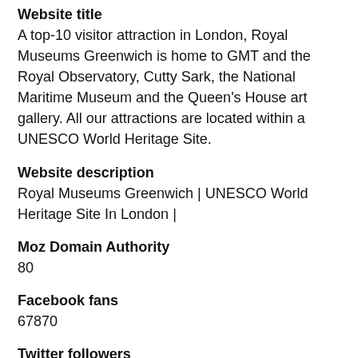Website title
A top-10 visitor attraction in London, Royal Museums Greenwich is home to GMT and the Royal Observatory, Cutty Sark, the National Maritime Museum and the Queen's House art gallery. All our attractions are located within a UNESCO World Heritage Site.
Website description
Royal Museums Greenwich | UNESCO World Heritage Site In London |
Moz Domain Authority
80
Facebook fans
67870
Twitter followers
30557
Frequently mentioned terms on the homepage this can